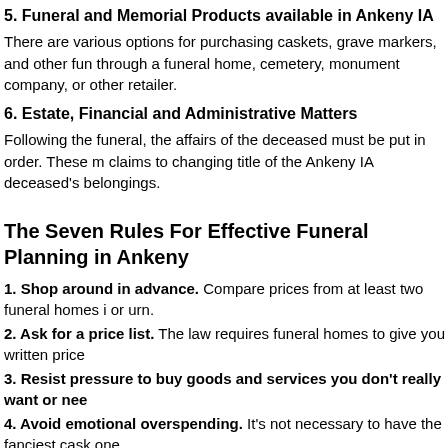5. Funeral and Memorial Products available in Ankeny IA
There are various options for purchasing caskets, grave markers, and other funeral products through a funeral home, cemetery, monument company, or other retailer.
6. Estate, Financial and Administrative Matters
Following the funeral, the affairs of the deceased must be put in order. These may range from settling claims to changing title of the Ankeny IA deceased's belongings.
The Seven Rules For Effective Funeral Planning in Ankeny
1. Shop around in advance. Compare prices from at least two funeral homes in Ankeny IA and for a casket or urn.
2. Ask for a price list. The law requires funeral homes to give you written price lists.
3. Resist pressure to buy goods and services you don't really want or need.
4. Avoid emotional overspending. It's not necessary to have the fanciest casket or most elaborate one.
5. Recognize your rights. Laws regarding funerals and burials vary from state to state. Know which items the law requires you to purchase and which are optional in Ankeny IA.
6. Apply the same smart shopping techniques you use for other major purchases.